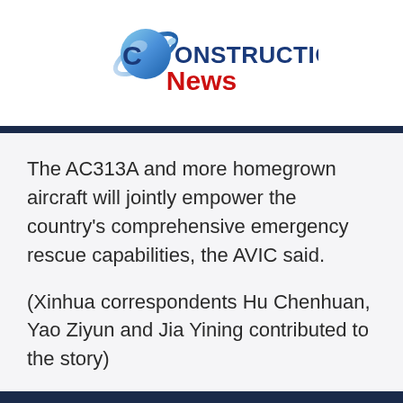[Figure (logo): Construction News logo with blue stylized 'C' and globe graphic, text 'CONSTRUCTION' in blue and 'News' in red below]
The AC313A and more homegrown aircraft will jointly empower the country's comprehensive emergency rescue capabilities, the AVIC said.

(Xinhua correspondents Hu Chenhuan, Yao Ziyun and Jia Yining contributed to the story)
Copyright ©1998-2022 Industries News.Net | Mainstream Media Limited - All rights reserved